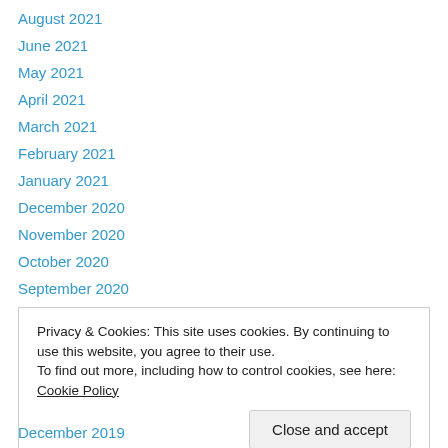August 2021
June 2021
May 2021
April 2021
March 2021
February 2021
January 2021
December 2020
November 2020
October 2020
September 2020
August 2020
July 2020
Privacy & Cookies: This site uses cookies. By continuing to use this website, you agree to their use.
To find out more, including how to control cookies, see here: Cookie Policy
December 2019